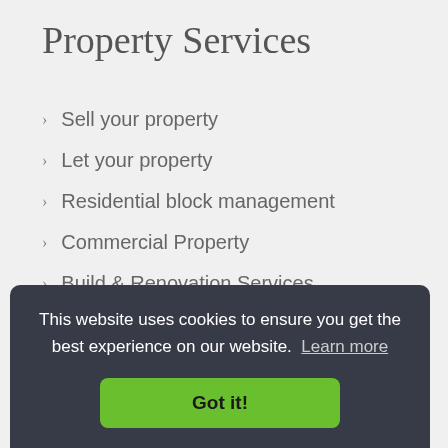Property Services
Sell your property
Let your property
Residential block management
Commercial Property
Build & Renovation Services
Energy Consultancy
This website uses cookies to ensure you get the best experience on our website. Learn more
Got it!